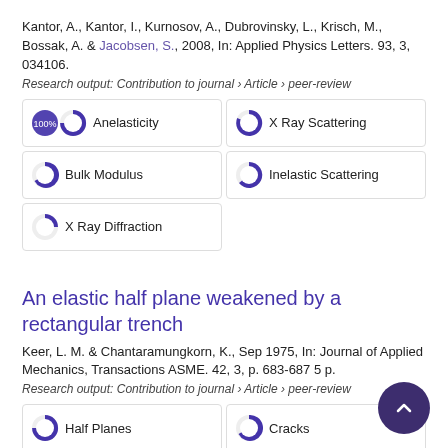Kantor, A., Kantor, I., Kurnosov, A., Dubrovinsky, L., Krisch, M., Bossak, A. & Jacobsen, S., 2008, In: Applied Physics Letters. 93, 3, 034106.
Research output: Contribution to journal › Article › peer-review
Anelasticity
X Ray Scattering
Bulk Modulus
Inelastic Scattering
X Ray Diffraction
An elastic half plane weakened by a rectangular trench
Keer, L. M. & Chantaramungkorn, K., Sep 1975, In: Journal of Applied Mechanics, Transactions ASME. 42, 3, p. 683-687 5 p.
Research output: Contribution to journal › Article › peer-review
Half Planes
Cracks
Cracks
Singular Integral Equations
Collocation